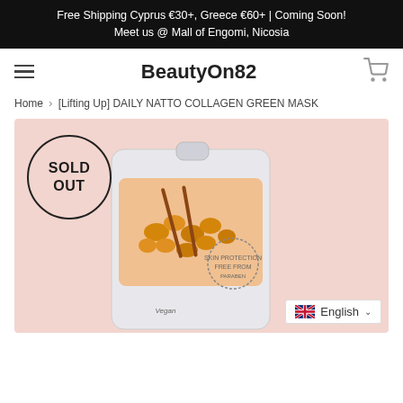Free Shipping Cyprus €30+, Greece €60+ | Coming Soon! Meet us @ Mall of Engomi, Nicosia
BeautyOn82
Home › [Lifting Up] DAILY NATTO COLLAGEN GREEN MASK
[Figure (photo): Product page showing a face mask package with a SOLD OUT circular stamp overlay. The package has a pink/salmon background and shows natto (fermented soybeans) imagery. A UK/English language selector is visible at the bottom right.]